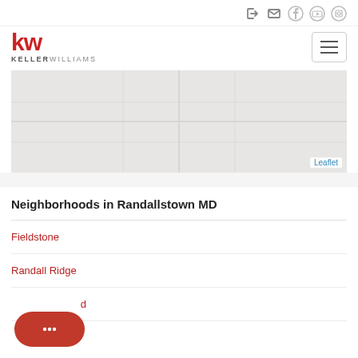Keller Williams website header with navigation icons and logo
[Figure (map): Leaflet map showing Randallstown MD area, gray background map tile]
Neighborhoods in Randallstown MD
Fieldstone
Randall Ridge
...d (partially visible)